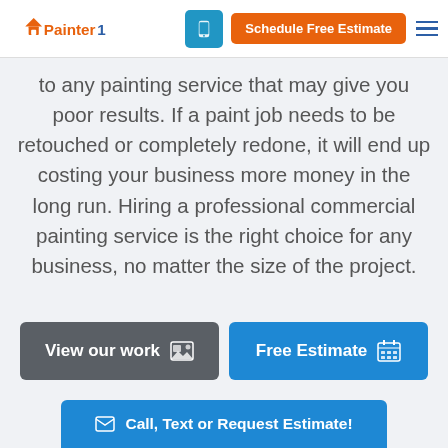Painter1 | Schedule Free Estimate
to any painting service that may give you poor results. If a paint job needs to be retouched or completely redone, it will end up costing your business more money in the long run. Hiring a professional commercial painting service is the right choice for any business, no matter the size of the project.
[Figure (screenshot): Two CTA buttons: 'View our work' (gray) and 'Free Estimate' (blue)]
[Figure (screenshot): Bottom sticky button: 'Call, Text or Request Estimate!']